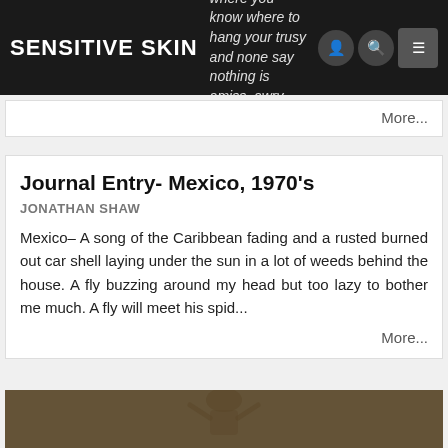Sensitive Skin
where you know where to hang your trusy and none say nothing is amiss, awry—
More...
Journal Entry- Mexico, 1970's
JONATHAN SHAW
Mexico– A song of the Caribbean fading and a rusted burned out car shell laying under the sun in a lot of weeds behind the house. A fly buzzing around my head but too lazy to bother me much. A fly will meet his spid...
More...
[Figure (photo): Sepia-toned photograph showing a figure with raised arms against a dark background]